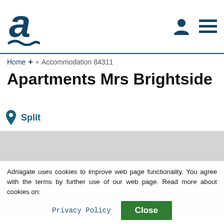[Figure (logo): Adriagate logo — stylized letter 'a' with wave underline in dark teal]
Home + >> Accommodation 84311
Apartments Mrs Brightside
Split
[Figure (photo): Gray placeholder image area for property photos with left and right carousel arrows]
Adriagate uses cookies to improve web page functionality. You agree with the terms by further use of our web page. Read more about cookies on:
Privacy Policy   Close